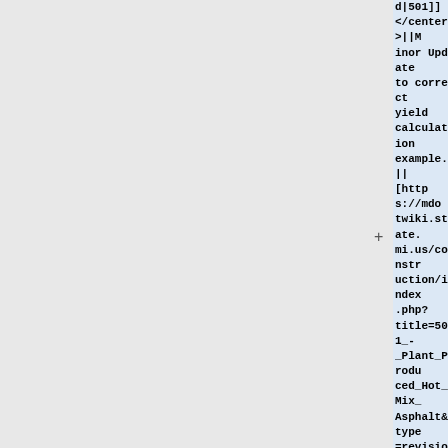d|501]]
</center>||Minor Update to correct yield calculation example.||[https://mdotwiki.state.mi.us/construction/index.php?title=501_-_Plant_Produced_Hot_Mix_Asphalt&type=revision&diff=6336&oldid=6206 Compare Here]